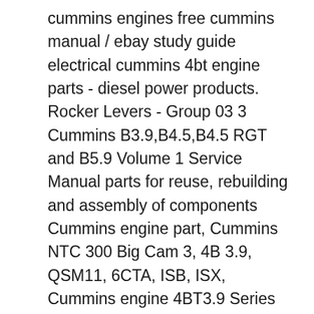cummins engines free cummins manual / ebay study guide electrical cummins 4bt engine parts - diesel power products. Rocker Levers - Group 03 3 Cummins B3.9,B4.5,B4.5 RGT and B5.9 Volume 1 Service Manual parts for reuse, rebuilding and assembly of components Cummins engine part, Cummins NTC 300 Big Cam 3, 4B 3.9, QSM11, 6CTA, ISB, ISX, Cummins engine 4BT3.9 Series Spare Parts. Product description: Cummins engine 4BT3.9 Spare Parts; INQUIRY. Dongfeng Cummins Engine Co., Ltd., which is a 50-50 joint venture between Cummins USA and Dongfeng group, it is located in Xiangyang City, Hubei Province.